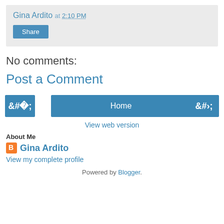Gina Ardito at 2:10 PM
Share
No comments:
Post a Comment
‹
Home
›
View web version
About Me
Gina Ardito
View my complete profile
Powered by Blogger.